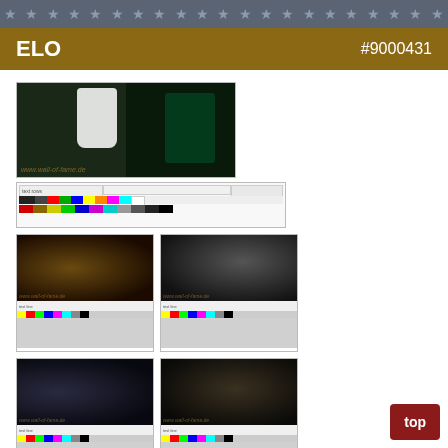ELO  #9000431
[Figure (photo): Thumbnail images of ELO Face The Music CD booklet printer's proofs, showing color calibration strips and booklet pages]
ELO PRINTERS PROOF
Complete set of printers proofs for the CD Face The Music. The photos used for the booklet